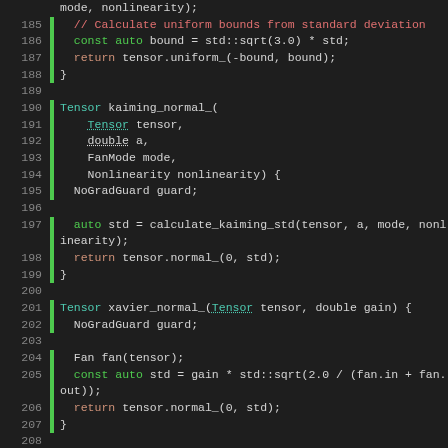[Figure (screenshot): Source code editor showing C++ code for kaiming_normal_, xavier_normal_, and xavier_uniform_ tensor initialization functions, lines 185-212, with syntax highlighting on dark background.]